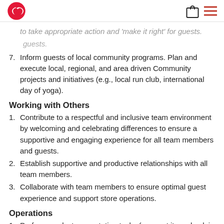lululemon header with logo, bag icon, and menu icon
to take appropriate action and 'make it right' for guests.
7. Inform guests of local community programs. Plan and execute local, regional, and area driven Community projects and initiatives (e.g., local run club, international day of yoga).
Working with Others
1. Contribute to a respectful and inclusive team environment by welcoming and celebrating differences to ensure a supportive and engaging experience for all team members and guests.
2. Establish supportive and productive relationships with all team members.
3. Collaborate with team members to ensure optimal guest experience and support store operations.
Operations
1. Perform product presentation tasks (e.g., put items back in place, restock or add depleted items to the floor from